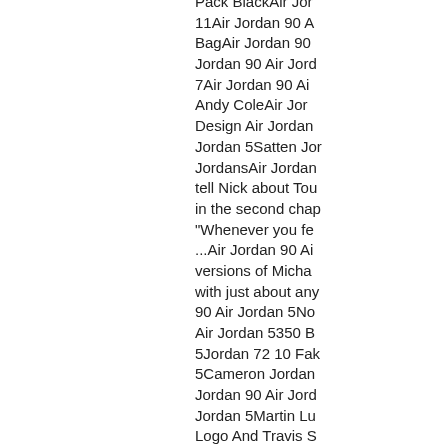Pack BlackAir Jor 11Air Jordan 90 A BagAir Jordan 90 Jordan 90 Air Jord 7Air Jordan 90 Ai Andy ColeAir Jor Design Air Jordan Jordan 5Satten Jor JordansAir Jordan tell Nick about Tou in the second chap "Whenever you fe ...Air Jordan 90 Ai versions of Micha with just about any 90 Air Jordan 5No Air Jordan 5350 B 5Jordan 72 10 Fak 5Cameron Jordan Jordan 90 Air Jord Jordan 5Martin Lu Logo And Travis S Black/Starfish/Wh Jordan Nba Live 1 Spizike Poison Gr